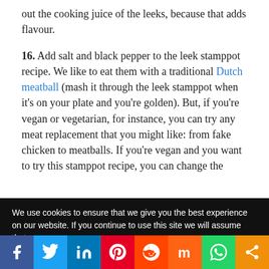out the cooking juice of the leeks, because that adds flavour.
16. Add salt and black pepper to the leek stamppot recipe. We like to eat them with a traditional Dutch meatball (mash it through the leek stamppot when it's on your plate and you're golden). But, if you're vegan or vegetarian, for instance, you can try any meat replacement that you might like: from fake chicken to meatballs. If you're vegan and you want to try this stamppot recipe, you can change the
We use cookies to ensure that we give you the best experience on our website. If you continue to use this site we will assume that you
[Figure (infographic): Social media sharing bar with icons for Facebook, Twitter, LinkedIn, Pinterest, Reddit, Mix, WhatsApp, and Share]